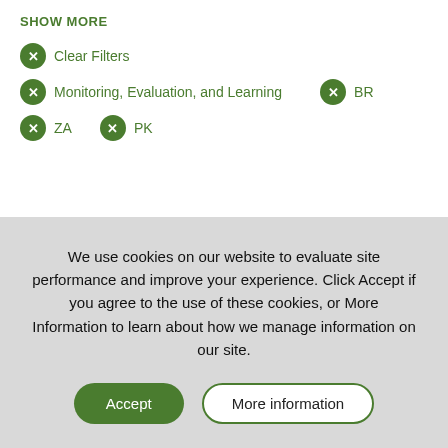SHOW MORE
✕ Clear Filters
✕ Monitoring, Evaluation, and Learning  ✕ BR
✕ ZA  ✕ PK
We use cookies on our website to evaluate site performance and improve your experience. Click Accept if you agree to the use of these cookies, or More Information to learn about how we manage information on our site.
Accept  More information